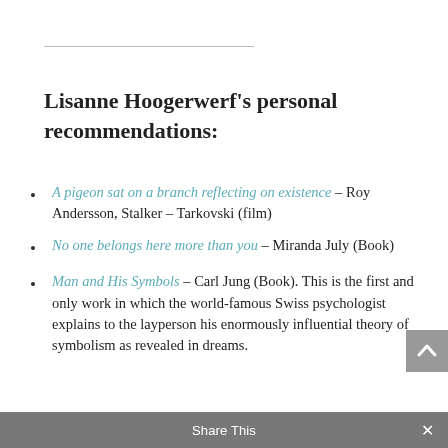Lisanne Hoogerwerf's personal recommendations:
A pigeon sat on a branch reflecting on existence – Roy Andersson, Stalker – Tarkovski (film)
No one belongs here more than you – Miranda July (Book)
Man and His Symbols – Carl Jung (Book). This is the first and only work in which the world-famous Swiss psychologist explains to the layperson his enormously influential theory of symbolism as revealed in dreams.
Share This ×